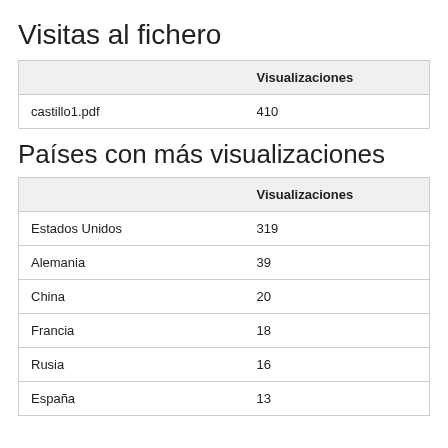Visitas al fichero
|  | Visualizaciones |
| --- | --- |
| castillo1.pdf | 410 |
Países con más visualizaciones
|  | Visualizaciones |
| --- | --- |
| Estados Unidos | 319 |
| Alemania | 39 |
| China | 20 |
| Francia | 18 |
| Rusia | 16 |
| España | 13 |